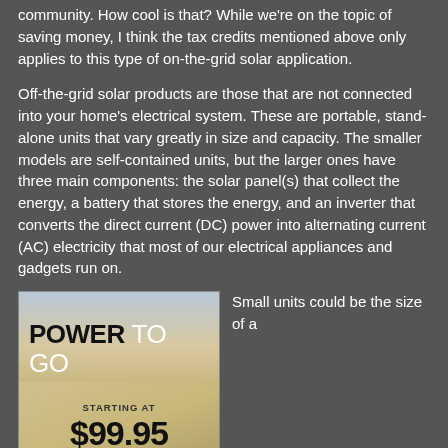community. How cool is that? While we're on the topic of saving money, I think the tax credits mentioned above only applies to this type of on-the-grid solar application.
Off-the-grid solar products are those that are not connected into your home's electrical system. These are portable, stand-alone units that vary greatly in size and capacity. The smaller models are self-contained units, but the larger ones have three main components: the solar panel(s) that collect the energy, a battery that stores the energy, and an inverter that converts the direct current (DC) power into alternating current (AC) electricity that most of our electrical appliances and gadgets run on.
[Figure (photo): Goal Zero advertisement showing 'POWER TO GO' text, starting at $99.95, with GoalZero logo and a green SHOP button]
Small units could be the size of a
tablet computer and could be used for recharging an iPad or a smartphone. The batteries for medium-sized units would be about